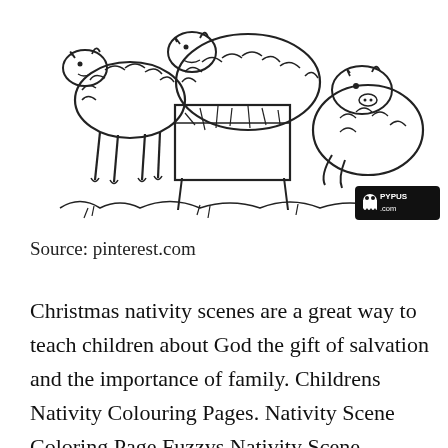[Figure (illustration): Black and white coloring page illustration showing nativity scene animals: two lambs/goats standing and one resting, with a manger/hay box in the center. Line art style typical of children's coloring pages. A small watermark logo reading 'PYPUS .com' appears in the bottom right corner of the illustration.]
Source: pinterest.com
Christmas nativity scenes are a great way to teach children about God the gift of salvation and the importance of family. Childrens Nativity Colouring Pages. Nativity Scene Coloring Page Fuzzys Nativity Scene coloring page is a bea[blocked]tiful Christmas